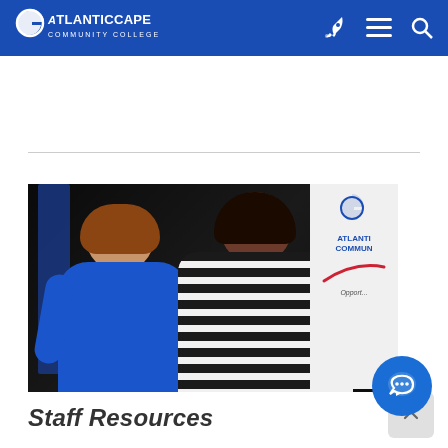Atlantic Cape Community College
[Figure (photo): Two women smiling and posing together at an Atlantic Cape Community College event. The woman on the left wears a blue top, the woman on the right wears a black and white striped shirt. Atlantic Cape Community College banners are visible in the background.]
Staff Resources